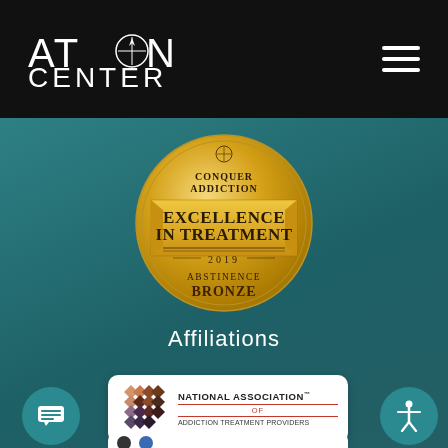[Figure (logo): Aton Center logo in white text on black background, with compass rose icon replacing the 'o' in Aton]
[Figure (illustration): Gold circular badge: Conquer Addiction Excellence in Treatment 2019, Abstinence Bronze]
Affiliations
[Figure (logo): National Association of Addiction Treatment Providers logo — geometric diamond pattern in orange/brown/dark colors, with text NATIONAL ASSOCIATION OF ADDICTION TREATMENT PROVIDERS]
[Figure (logo): Partially visible bottom card with logos]